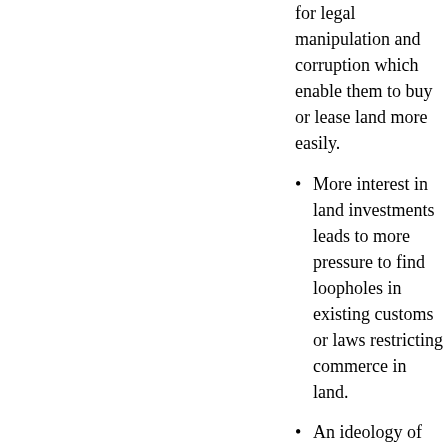for legal manipulation and corruption which enable them to buy or lease land more easily.
More interest in land investments leads to more pressure to find loopholes in existing customs or laws restricting commerce in land.
An ideology of "productivity" and "efficiency" in the production of single commodities favors exchange, commercialization and concentration of land.